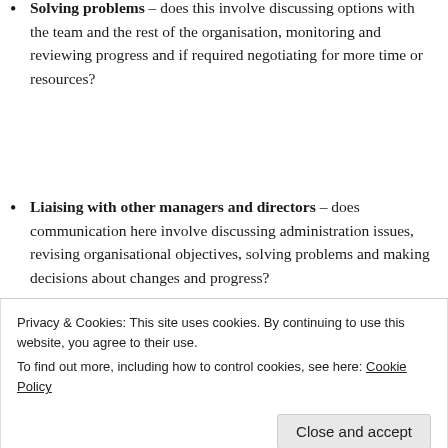Solving problems – does this involve discussing options with the team and the rest of the organisation, monitoring and reviewing progress and if required negotiating for more time or resources?
Liaising with other managers and directors – does communication here involve discussing administration issues, revising organisational objectives, solving problems and making decisions about changes and progress?
[Figure (other): Blue advertisement banner with white text: 'The only journaling app you'll ever need.']
Privacy & Cookies: This site uses cookies. By continuing to use this website, you agree to their use.
To find out more, including how to control cookies, see here: Cookie Policy